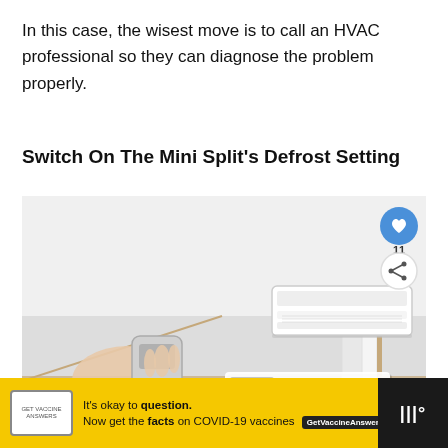In this case, the wisest move is to call an HVAC professional so they can diagnose the problem properly.
Switch On The Mini Split's Defrost Setting
[Figure (photo): Person holding a remote control pointed at a mini split air conditioner unit mounted on a wall near the ceiling. Social media interaction buttons (heart/like and share) are overlaid on the right side, along with a 'What's Next' thumbnail card showing 'Mini Split Air Conditioner...']
[Figure (infographic): Yellow advertisement bar at bottom: 'It's okay to question. Now get the facts on COVID-19 vaccines. GetVaccineAnswers.org' with a logo on the left and a dark strip on the right with menu icon.]